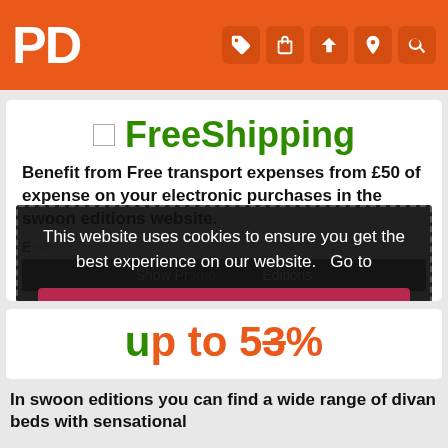PD
[Figure (screenshot): Free Shipping heading with small image placeholder icon and green bold text]
Benefit from Free transport expenses from £50 of expense on your electronic purchases in the swoon editions website.
Ends: 0
Show Promo ...  Editions
This website uses cookies to ensure you get the best experience on our website.   Go to
Legal Questions Use of this website
Accept
up to 53%
In swoon editions you can find a wide range of divan beds with sensational